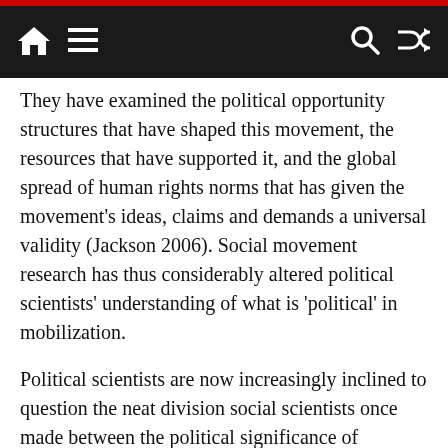Navigation bar with home, menu, search, and shuffle icons
They have examined the political opportunity structures that have shaped this movement, the resources that have supported it, and the global spread of human rights norms that has given the movement’s ideas, claims and demands a universal validity (Jackson 2006). Social movement research has thus considerably altered political scientists’ understanding of what is ‘political’ in mobilization.
Political scientists are now increasingly inclined to question the neat division social scientists once made between the political significance of political parties and interest representation in state institutions, on the one hand, and the social and cultural (but supposedly less political) weight of social movements, on the other. Of course, social movements have important cultural and social implications; but they are also inherently political,